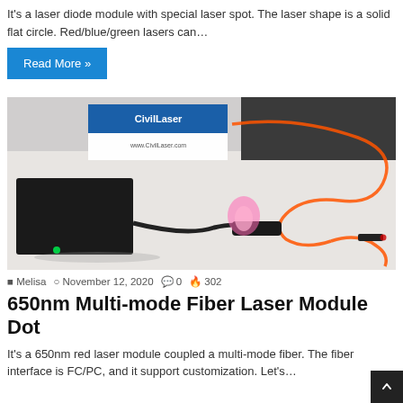It's a laser diode module with special laser spot. The laser shape is a solid flat circle. Red/blue/green lasers can…
Read More »
[Figure (photo): Photo of a CivilLaser fiber laser module device with orange fiber cable coiled, showing a glowing pink/red laser dot, connected to a black power adapter on a white surface. A CivilLaser branded sign is visible in the background.]
Melisa  November 12, 2020  0  302
650nm Multi-mode Fiber Laser Module Dot
It's a 650nm red laser module coupled a multi-mode fiber. The fiber interface is FC/PC, and it support customization. Let's…